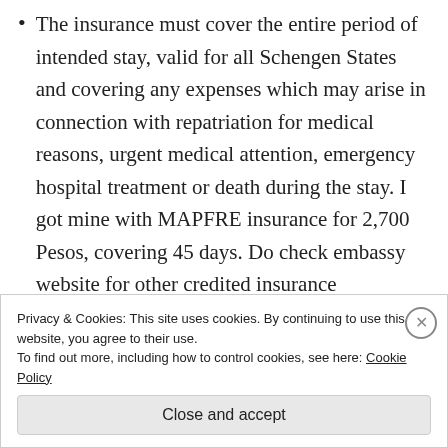The insurance must cover the entire period of intended stay, valid for all Schengen States and covering any expenses which may arise in connection with repatriation for medical reasons, urgent medical attention, emergency hospital treatment or death during the stay. I got mine with MAPFRE insurance for 2,700 Pesos, covering 45 days. Do check embassy website for other credited insurance companies.
9. Proof of accommodation
Privacy & Cookies: This site uses cookies. By continuing to use this website, you agree to their use. To find out more, including how to control cookies, see here: Cookie Policy
Close and accept